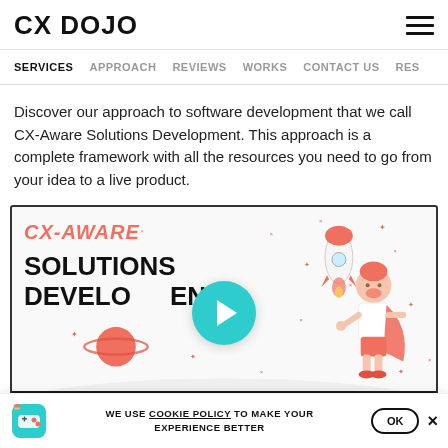CX DOJO
SERVICES  APPROACH  REVIEWS  WORKS  CONTACT US  RES
Discover our approach to software development that we call CX-Aware Solutions Development. This approach is a complete framework with all the resources you need to go from your idea to a live product.
[Figure (screenshot): Video thumbnail for CX-Aware Solutions Development showing bold text 'CX-AWARE SOLUTIONS DEVELOPMENT', a play button in teal/cyan, a superhero character illustration on the right, a rocket in upper right, planet and stars decorations, and a dark video control bar at the bottom showing time 02:45.]
WE USE COOKIE POLICY TO MAKE YOUR EXPERIENCE BETTER